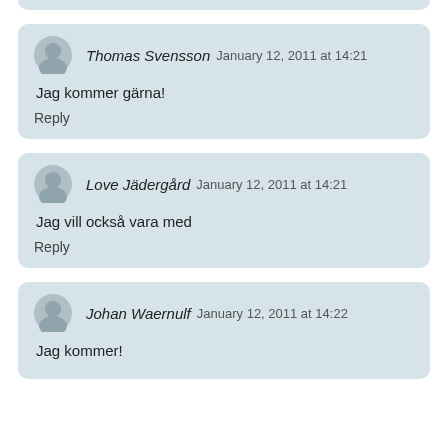Thomas Svensson January 12, 2011 at 14:21
Jag kommer gärna!
Reply
Love Jädergård January 12, 2011 at 14:21
Jag vill också vara med
Reply
Johan Waernulf January 12, 2011 at 14:22
Jag kommer!